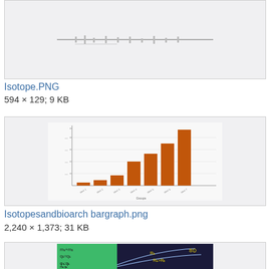[Figure (other): Partial image cropped at top of page showing a waveform or spectral plot]
Isotope.PNG
594 × 129; 9 KB
[Figure (bar-chart): Bar chart with orange bars showing increasing values, with axis labels along left and category labels along bottom]
Isotopesandbioarch bargraph.png
2,240 × 1,373; 31 KB
[Figure (other): Partial diagram showing isotope or physics figure with green and black sections, text labels including m1+m2, q2=q1, R1, R1>R2, and a symbol 8 with circle]